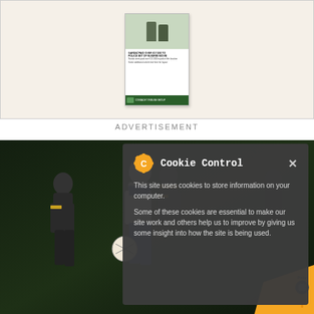[Figure (photo): Newspaper thumbnail showing a sports article with headline 'GARDAÍ PAID OVER €17,000 TO POLICE SET OF NUIGRIM MOVIE' and players image at top]
ADVERTISEMENT
[Figure (photo): Sports photo of Gaelic football players in action on a floodlit pitch at night; players wearing white/blue and black/gold jerseys]
Cookie Control × This site uses cookies to store information on your computer. Some of these cookies are essential to make our site work and others help us to improve by giving us some insight into how the site is being used.